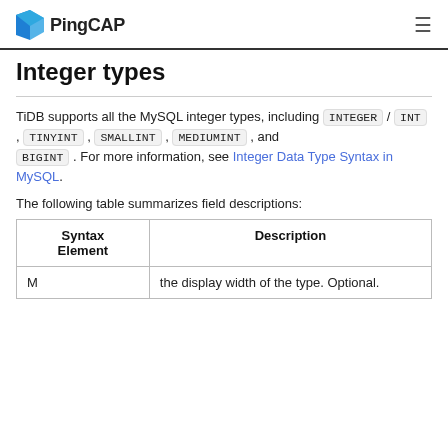PingCAP
Integer types
TiDB supports all the MySQL integer types, including INTEGER / INT , TINYINT , SMALLINT , MEDIUMINT , and BIGINT . For more information, see Integer Data Type Syntax in MySQL.
The following table summarizes field descriptions:
| Syntax Element | Description |
| --- | --- |
| M | the display width of the type. Optional. |